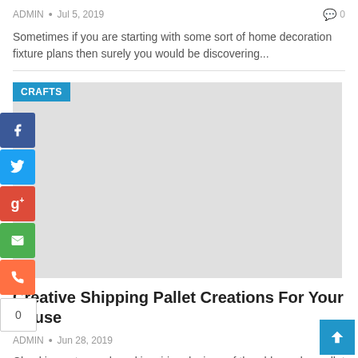ADMIN • Jul 5, 2019   0
Sometimes if you are starting with some sort of home decoration fixture plans then surely you would be discovering...
[Figure (photo): Gray image placeholder for a crafts article with CRAFTS category badge in top left and social share buttons on the left side]
Creative Shipping Pallet Creations For Your House
ADMIN • Jun 28, 2019
Checking out superb and inspiring designs of the old wooden pallet ideas